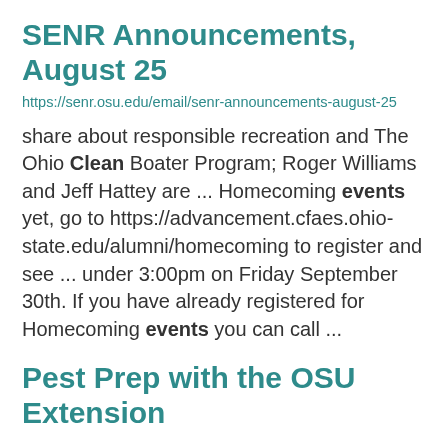SENR Announcements, August 25
https://senr.osu.edu/email/senr-announcements-august-25
share about responsible recreation and The Ohio Clean Boater Program; Roger Williams and Jeff Hattey are ... Homecoming events yet, go to https://advancement.cfaes.ohio-state.edu/alumni/homecoming to register and see ... under 3:00pm on Friday September 30th. If you have already registered for Homecoming events you can call ...
Pest Prep with the OSU Extension